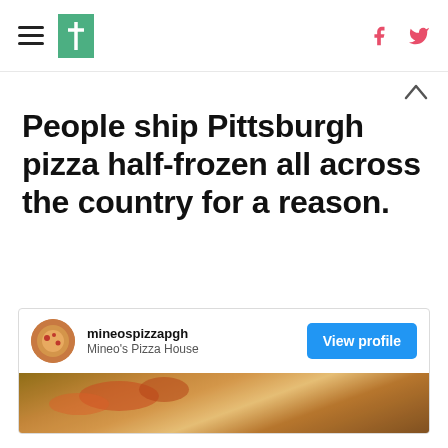HuffPost navigation with hamburger menu, logo, Facebook and Twitter icons
People ship Pittsburgh pizza half-frozen all across the country for a reason.
[Figure (screenshot): Instagram embed card showing mineospizzapgh (Mineo's Pizza House) with View profile button and pizza photo below]